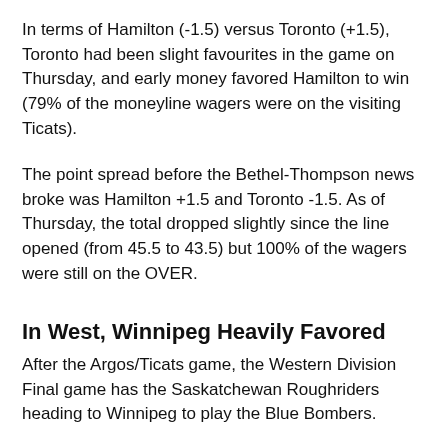In terms of Hamilton (-1.5) versus Toronto (+1.5), Toronto had been slight favourites in the game on Thursday, and early money favored Hamilton to win (79% of the moneyline wagers were on the visiting Ticats).
The point spread before the Bethel-Thompson news broke was Hamilton +1.5 and Toronto -1.5. As of Thursday, the total dropped slightly since the line opened (from 45.5 to 43.5) but 100% of the wagers were still on the OVER.
In West, Winnipeg Heavily Favored
After the Argos/Ticats game, the Western Division Final game has the Saskatchewan Roughriders heading to Winnipeg to play the Blue Bombers.